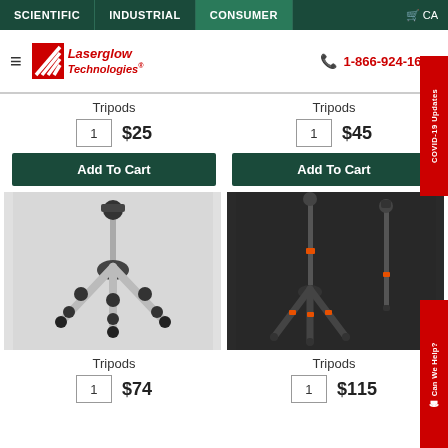SCIENTIFIC | INDUSTRIAL | CONSUMER | Cart
[Figure (logo): Laserglow Technologies logo with hamburger menu and phone number 1-866-924-1673]
Tripods
1  $25
Add To Cart
Tripods
1  $45
Add To Cart
[Figure (photo): Silver and black adjustable tripod with multiple leg joints, shown against a grey background]
[Figure (photo): Black and orange tripod set with two pieces shown against a dark background]
Tripods
1  $74
Tripods
1  $115